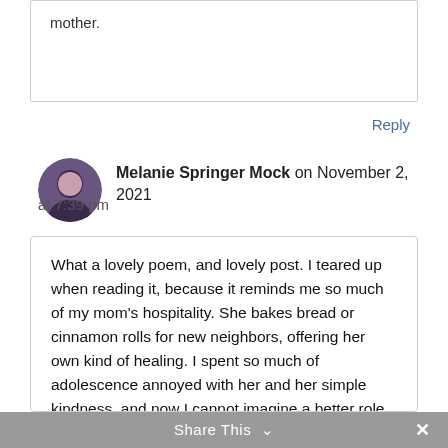mother.
Reply
Melanie Springer Mock on November 2, 2021 at 7:39 pm
What a lovely poem, and lovely post. I teared up when reading it, because it reminds me so much of my mom's hospitality. She bakes bread or cinnamon rolls for new neighbors, offering her own kind of healing. I spent so much of adolescence annoyed with her and her simple kindness, and now I cannot imagine a better role model of Jesus' love. Thank you for sharing this, and also, it would be cool to have coffee with you and Julia's mother. I'm sure the conversation is amazing.
Share This ∨